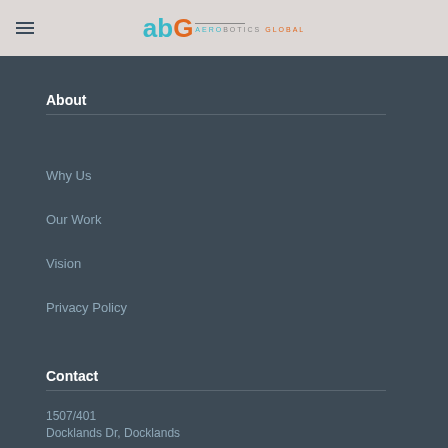[Figure (logo): Aerobotics Global logo with teal 'ab' and orange 'G' letters, with horizontal line and company name]
About
Why Us
Our Work
Vision
Privacy Policy
Contact
1507/401
Docklands Dr, Docklands